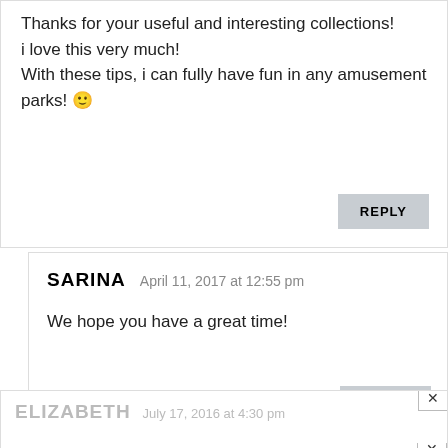Thanks for your useful and interesting collections!
i love this very much!
With these tips, i can fully have fun in any amusement parks! 🙂
REPLY
SARINA   April 11, 2017 at 12:55 pm
We hope you have a great time!
REPLY
ELIZABETH   July 17, 2016 at 4:30 pm